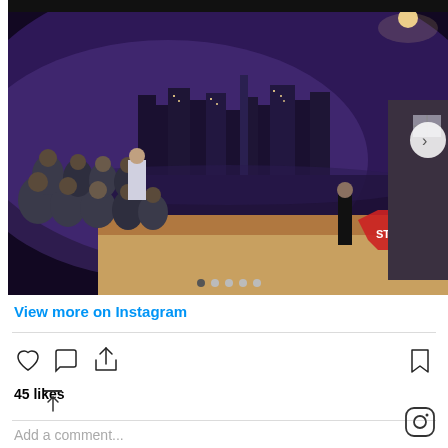[Figure (photo): Fashion show or event scene on a stage with a dramatic New York City skyline backdrop at night. Audience seated on the left, a model/person walking in black, street props including a stop sign, traffic light, and streetlamp on the right. Purple/blue lighting atmosphere. Navigation arrow (next) on right side, and carousel dots at bottom.]
View more on Instagram
[Figure (infographic): Instagram interaction icons: heart (like), speech bubble (comment), share arrow, bookmark icon. Below: 45 likes. Comment input: Add a comment... Instagram logo bottom right. Scroll-to-top icon bottom left.]
45 likes
Add a comment...